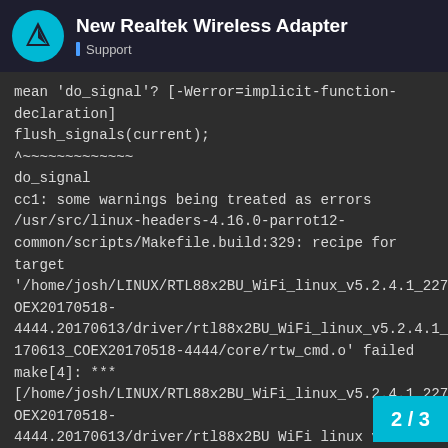New Realtek Wireless Adapter — Support
mean 'do_signal'? [-Werror=implicit-function-declaration]
flush_signals(current);
^~~~~~~~~~~~~~
do_signal
cc1: some warnings being treated as errors
/usr/src/linux-headers-4.16.0-parrot12-common/scripts/Makefile.build:329: recipe for target '/home/josh/LINUX/RTL88x2BU_WiFi_linux_v5.2.4.1_22719_COEX20170518-4444.20170613/driver/rtl88x2BU_WiFi_linux_v5.2.4.1_22719.20170613_COEX20170518-4444/core/rtw_cmd.o' failed
make[4]: ***
[/home/josh/LINUX/RTL88x2BU_WiFi_linux_v5.2.4.1_22719_COEX20170518-4444.20170613/driver/rtl88x2BU_WiFi_linux_v5.2.4.1_22719.20170613_COEX20170518-4444/core/rtw_cmd.o] Error 1
/usr/src/linux-headers-4.16.0-parrot12-common/Makefile:1578: recipe for target
'module/home/josh/LINUX/RTL88x2BU_W
2 / 3